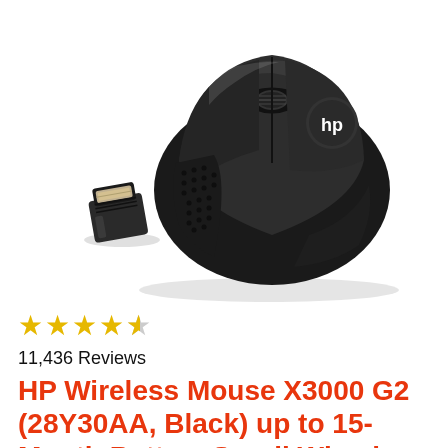[Figure (photo): HP wireless mouse X3000 G2 in black with HP logo on top, shown from above at an angle, alongside a small USB nano receiver dongle placed to the lower left of the mouse. White background product photo.]
★★★★½
11,436 Reviews
HP Wireless Mouse X3000 G2 (28Y30AA, Black) up to 15-Month Battery,Scroll Wheel, Side Grips for